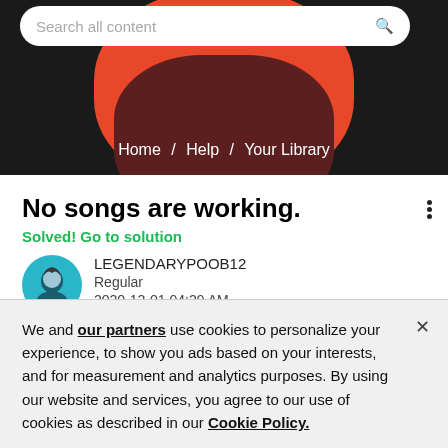[Figure (screenshot): Spotify community page header with search bar and red/dark decorative shapes on black background]
Home / Help / Your Library
No songs are working.
Solved! Go to solution
LEGENDARYPOOB12
Regular
2020-12-01 04:29 AM
Pl
We and our partners use cookies to personalize your experience, to show you ads based on your interests, and for measurement and analytics purposes. By using our website and services, you agree to our use of cookies as described in our Cookie Policy.